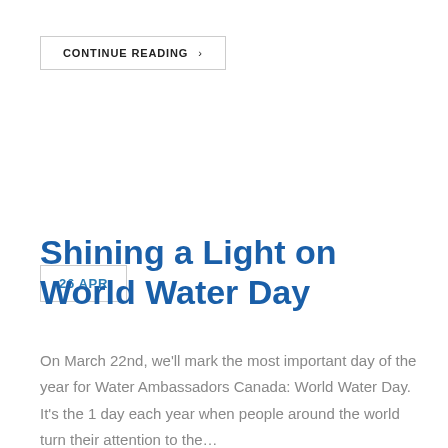CONTINUE READING >
26 APR
Shining a Light on World Water Day
On March 22nd, we'll mark the most important day of the year for Water Ambassadors Canada: World Water Day. It's the 1 day each year when people around the world turn their attention to the…